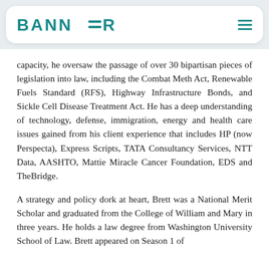BANNER
capacity, he oversaw the passage of over 30 bipartisan pieces of legislation into law, including the Combat Meth Act, Renewable Fuels Standard (RFS), Highway Infrastructure Bonds, and Sickle Cell Disease Treatment Act. He has a deep understanding of technology, defense, immigration, energy and health care issues gained from his client experience that includes HP (now Perspecta), Express Scripts, TATA Consultancy Services, NTT Data, AASHTO, Mattie Miracle Cancer Foundation, EDS and TheBridge.
A strategy and policy dork at heart, Brett was a National Merit Scholar and graduated from the College of William and Mary in three years. He holds a law degree from Washington University School of Law. Brett appeared on Season 1 of